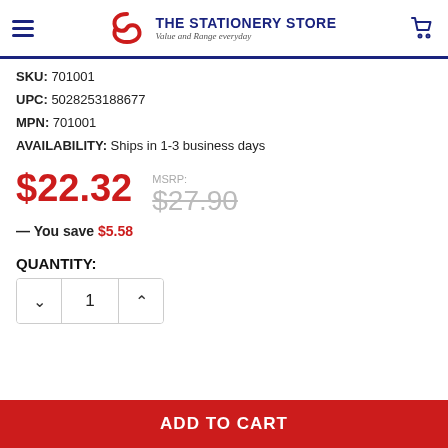THE STATIONERY STORE — Value and Range everyday
SKU: 701001
UPC: 5028253188677
MPN: 701001
AVAILABILITY: Ships in 1-3 business days
$22.32
MSRP: $27.90
— You save $5.58
QUANTITY:
1
ADD TO CART